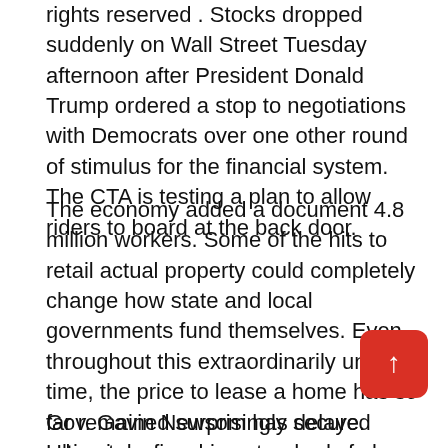rights reserved . Stocks dropped suddenly on Wall Street Tuesday afternoon after President Donald Trump ordered a stop to negotiations with Democrats over one other round of stimulus for the financial system. The CTA is testing a plan to allow riders to board at the back door.
The economy added a document 4.8 million workers. Some of the hits to retail actual property could completely change how state and local governments fund themselves. Even throughout this extraordinarily unstable time, the price to lease a home has so far remained surprisingly secure. Ultimately, fiscal coverage can only go up to now in mitigating the economic results of the coronavirus.
Gov. Gavin Newsom has delayed releasing reopening standards for California...